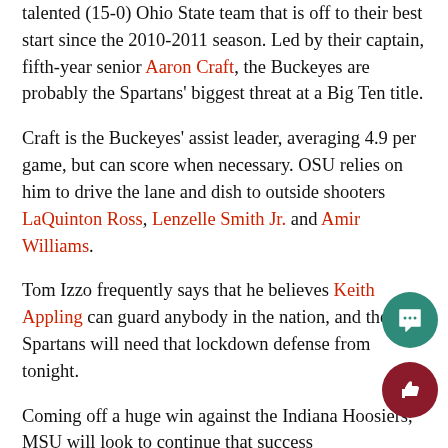talented (15-0) Ohio State team that is off to their best start since the 2010-2011 season. Led by their captain, fifth-year senior Aaron Craft, the Buckeyes are probably the Spartans' biggest threat at a Big Ten title.
Craft is the Buckeyes' assist leader, averaging 4.9 per game, but can score when necessary. OSU relies on him to drive the lane and dish to outside shooters LaQuinton Ross, Lenzelle Smith Jr. and Amir Williams.
Tom Izzo frequently says that he believes Keith Appling can guard anybody in the nation, and the Spartans will need that lockdown defense from tonight.
Coming off a huge win against the Indiana Hoosiers, MSU will look to continue that success